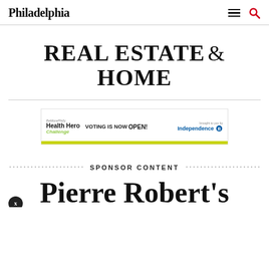Philadelphia
REAL ESTATE & HOME
[Figure (other): Advertisement banner: BeMorePhilly Health Hero Challenge - VOTING IS NOW OPEN! Brought to you by Independence Blue Cross]
SPONSOR CONTENT
Pierre Robert's